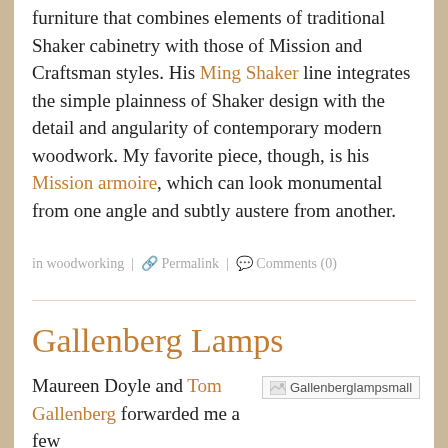...to develop that by designing and building furniture that combines elements of traditional Shaker cabinetry with those of Mission and Craftsman styles. His Ming Shaker line integrates the simple plainness of Shaker design with the detail and angularity of contemporary modern woodwork. My favorite piece, though, is his Mission armoire, which can look monumental from one angle and subtly austere from another.
in woodworking | ⚇ Permalink | ◯ Comments (0)
Gallenberg Lamps
Maureen Doyle and Tom Gallenberg forwarded me a few
[Figure (photo): Broken image placeholder labeled Gallenberglampsmall]